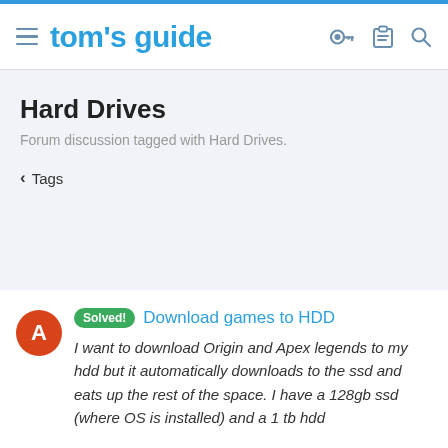tom's guide
Hard Drives
Forum discussion tagged with Hard Drives.
< Tags
Solved! Download games to HDD
I want to download Origin and Apex legends to my hdd but it automatically downloads to the ssd and eats up the rest of the space. I have a 128gb ssd (where OS is installed) and a 1 tb hdd